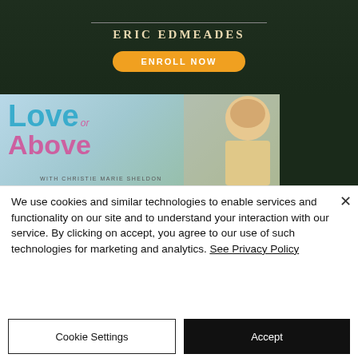[Figure (screenshot): Advertisement banner for Eric Edmeades course with dark green background, name in serif caps, and orange 'ENROLL NOW' button]
[Figure (screenshot): Advertisement for 'Love or Above' with Christie Marie Sheldon, showing colorful text and portrait photo]
We use cookies and similar technologies to enable services and functionality on our site and to understand your interaction with our service. By clicking on accept, you agree to our use of such technologies for marketing and analytics. See Privacy Policy
Cookie Settings
Accept